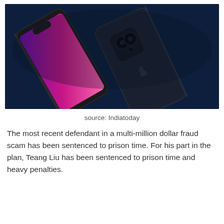[Figure (photo): Two iPhone 13 smartphones on a dark navy blue background. The left phone shows its front display with a purple-pink gradient wallpaper and notch visible. The right phone is shown from the back, revealing the dual camera system and Apple logo.]
source: Indiatoday
The most recent defendant in a multi-million dollar fraud scam has been sentenced to prison time. For his part in the plan, Teang Liu has been sentenced to prison time and heavy penalties.